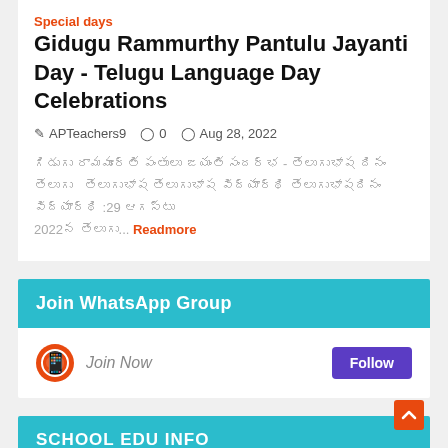Special days
Gidugu Rammurthy Pantulu Jayanti Day - Telugu Language Day Celebrations
APTeachers9   0   Aug 28, 2022
[Telugu text] ...Readmore
Join WhatsApp Group
Join Now  Follow
SCHOOL EDU INFO
education